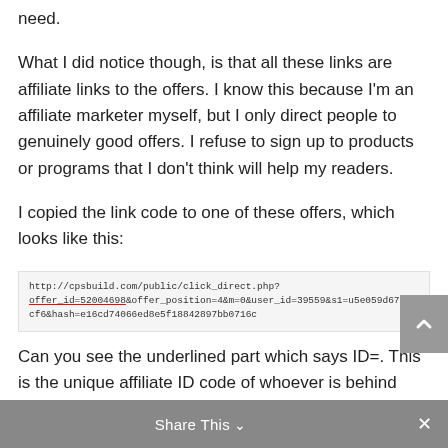need.
What I did notice though, is that all these links are affiliate links to the offers. I know this because I'm an affiliate marketer myself, but I only direct people to genuinely good offers. I refuse to sign up to products or programs that I don't think will help my readers.
I copied the link code to one of these offers, which looks like this:
[Figure (screenshot): A URL snippet showing http://cpsbuild.com/public/click_direct.php?offer_id=52004698&offer_position=4&m=0&user_id=39559&s1=u5e059d67809cf6&hash=e16cd74066ed8e5f18842897bb0716c with 'offer_id=52004698' underlined in red]
Can you see the underlined part which says ID=. This is the unique affiliate ID code of whoever is behind PrizeXP, and means they will earn a commission whenever somebody completes